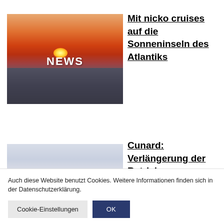[Figure (photo): Sunset over ocean with NEWS label overlaid in white text]
Mit nicko cruises auf die Sonneninseln des Atlantiks
[Figure (photo): Cloudy sky, pale blue and grey tones]
Cunard: Verlängerung der Betriebspause
Auch diese Website benutzt Cookies. Weitere Informationen finden sich in der Datenschutzerklärung.